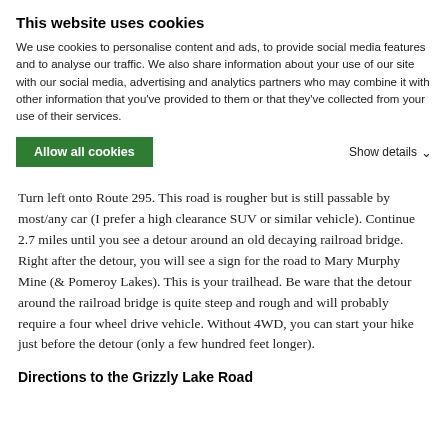This website uses cookies
We use cookies to personalise content and ads, to provide social media features and to analyse our traffic. We also share information about your use of our site with our social media, advertising and analytics partners who may combine it with other information that you've provided to them or that they've collected from your use of their services.
Allow all cookies
Show details
Turn left onto Route 295. This road is rougher but is still passable by most/any car (I prefer a high clearance SUV or similar vehicle). Continue 2.7 miles until you see a detour around an old decaying railroad bridge. Right after the detour, you will see a sign for the road to Mary Murphy Mine (& Pomeroy Lakes). This is your trailhead. Be ware that the detour around the railroad bridge is quite steep and rough and will probably require a four wheel drive vehicle. Without 4WD, you can start your hike just before the detour (only a few hundred feet longer).
Directions to the Grizzly Lake Road